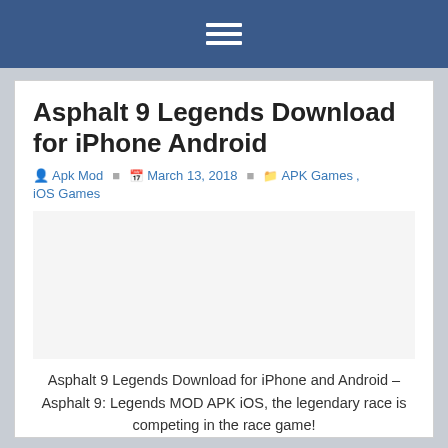≡
Asphalt 9 Legends Download for iPhone Android
Apk Mod  March 13, 2018  APK Games, iOS Games
[Figure (other): Advertisement placeholder area]
Asphalt 9 Legends Download for iPhone and Android – Asphalt 9: Legends MOD APK iOS, the legendary race is competing in the race game!
Asphalt 9 Legends features an extensive roster of real hypercars from renowned manufacturers such as Ferrari, Porsche, Lamborghini and W Motors. Pick your dream ride